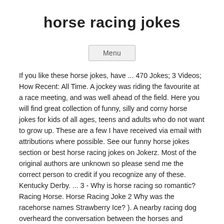horse racing jokes
Menu
If you like these horse jokes, have ... 470 Jokes; 3 Videos; How Recent: All Time. A jockey was riding the favourite at a race meeting, and was well ahead of the field. Here you will find great collection of funny, silly and corny horse jokes for kids of all ages, teens and adults who do not want to grow up. These are a few I have received via email with attributions where possible. See our funny horse jokes section or best horse racing jokes on Jokerz. Most of the original authors are unknown so please send me the correct person to credit if you recognize any of these. Kentucky Derby. ... 3 - Why is horse racing so romantic? Racing Horse. Horse Racing Joke 2 Why was the racehorse names Strawberry Ice? ). A nearby racing dog overheard the conversation between the horses and decided to join in. The current race record for Jokes is 0 wins from 6 starts with prizemoney of $12,660.00. Hot; Marriage Jokes; Jan 31, 2020. We've collected the best of horse racing jokes and puns just for you. 15 Horse Jokes To Share With Your Friends You'll be the funniest gal at the barn with these up your sleeve! Racing was well established in and around Sydney by 1810, with the first official race meet taking place at Hyde Park in October that year. Horse Jokes Laugh yourself horse with these funny jokes from the farm. ... Hay